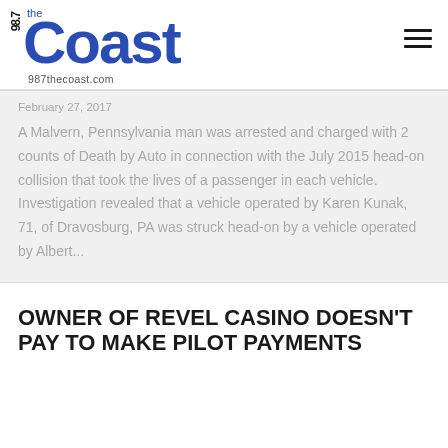[Figure (logo): 98.7 The Coast radio station logo with text '987thecoast.com']
February 27, 2017
A Malvern, Pennsylvania man was arrested and charged with 2 counts of Death by Auto in connection with the July 2015 head-on collision that took the lives of a passenger in each vehicle. Investigation revealed that a vehicle operated by Karen Kunak, 71, of Dravosburg, PA was struck head-on by a vehicle operated by Albert...
OWNER OF REVEL CASINO DOESN'T PAY TO MAKE PILOT PAYMENTS